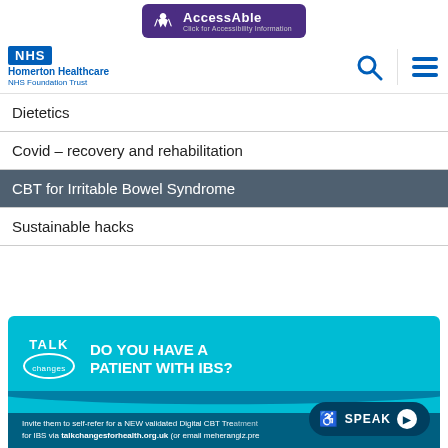[Figure (logo): AccessAble logo badge with purple background]
[Figure (logo): NHS Homerton Healthcare NHS Foundation Trust logo with search and menu icons]
Dietetics
Covid – recovery and rehabilitation
CBT for Irritable Bowel Syndrome
Sustainable hacks
[Figure (infographic): Talk Changes promo banner: DO YOU HAVE A PATIENT WITH IBS? Invite them to self-refer for a NEW validated Digital CBT Treatment for IBS via talkchangesforhealth.org.uk (or email meherangiz.pre...)]
Invite them to self-refer for a NEW validated Digital CBT Treatment for IBS via talkchangesforhealth.org.uk (or email meherangiz.pre...